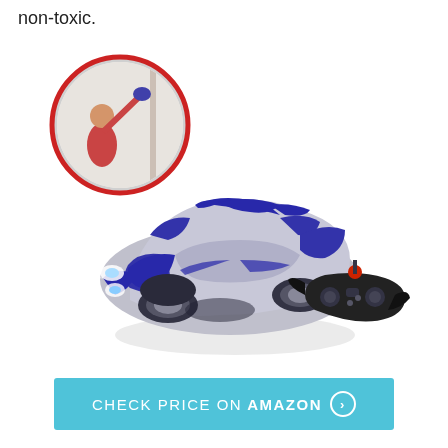non-toxic.
[Figure (photo): Blue and silver RC wall-climbing race car with remote controller, and inset circular image showing a child placing the car on a wall]
CHECK PRICE ON AMAZON ›